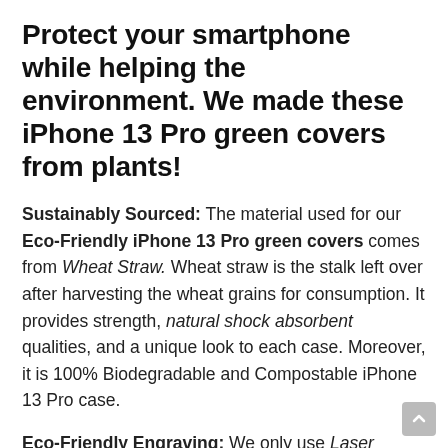Protect your smartphone while helping the environment. We made these iPhone 13 Pro green covers from plants!
Sustainably Sourced: The material used for our Eco-Friendly iPhone 13 Pro green covers comes from Wheat Straw. Wheat straw is the stalk left over after harvesting the wheat grains for consumption. It provides strength, natural shock absorbent qualities, and a unique look to each case. Moreover, it is 100% Biodegradable and Compostable iPhone 13 Pro case.
Eco-Friendly Engraving: We only use Laser Engraving to brand our cases. Thus, we can avoid any synthetic and harmful inks, colors etc. completely.